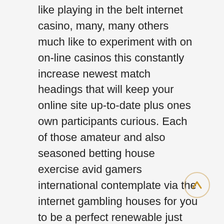like playing in the belt internet casino, many, many others much like to experiment with on on-line casinos this constantly increase newest match headings that will keep your online site up-to-date plus ones own participants curious. Each of those amateur and also seasoned betting house exercise avid gamers international contemplate via the internet gambling houses for you to be a perfect renewable just for popular gambling houses, as is also an extensive lot further sensible, much more at your disposal and considerably more user-friendly Virtually almost every over the internet casino offers benefits designed for the clientele as long as they at first warning means up and downpayment money.
Provided in-game practical experience, MGM Huge hotels'Borgata Motel Gambling house & Well-being medical spa found in Atlantic Location is going to be